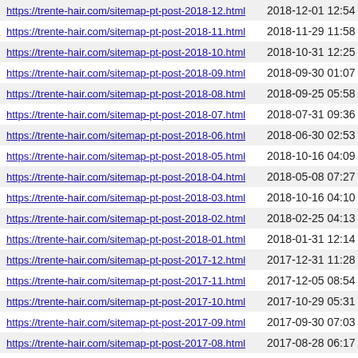| https://trente-hair.com/sitemap-pt-post-2018-12.html | 2018-12-01 12:54 |
| https://trente-hair.com/sitemap-pt-post-2018-11.html | 2018-11-29 11:58 |
| https://trente-hair.com/sitemap-pt-post-2018-10.html | 2018-10-31 12:25 |
| https://trente-hair.com/sitemap-pt-post-2018-09.html | 2018-09-30 01:07 |
| https://trente-hair.com/sitemap-pt-post-2018-08.html | 2018-09-25 05:58 |
| https://trente-hair.com/sitemap-pt-post-2018-07.html | 2018-07-31 09:36 |
| https://trente-hair.com/sitemap-pt-post-2018-06.html | 2018-06-30 02:53 |
| https://trente-hair.com/sitemap-pt-post-2018-05.html | 2018-10-16 04:09 |
| https://trente-hair.com/sitemap-pt-post-2018-04.html | 2018-05-08 07:27 |
| https://trente-hair.com/sitemap-pt-post-2018-03.html | 2018-10-16 04:10 |
| https://trente-hair.com/sitemap-pt-post-2018-02.html | 2018-02-25 04:13 |
| https://trente-hair.com/sitemap-pt-post-2018-01.html | 2018-01-31 12:14 |
| https://trente-hair.com/sitemap-pt-post-2017-12.html | 2017-12-31 11:28 |
| https://trente-hair.com/sitemap-pt-post-2017-11.html | 2017-12-05 08:54 |
| https://trente-hair.com/sitemap-pt-post-2017-10.html | 2017-10-29 05:31 |
| https://trente-hair.com/sitemap-pt-post-2017-09.html | 2017-09-30 07:03 |
| https://trente-hair.com/sitemap-pt-post-2017-08.html | 2017-08-28 06:17 |
| https://trente-hair.com/sitemap-pt-post-2017-07.html | 2017-07-24 02:07 |
| https://trente-hair.com/sitemap-pt-post-2017-06.html | 2017-06-27 13:13 |